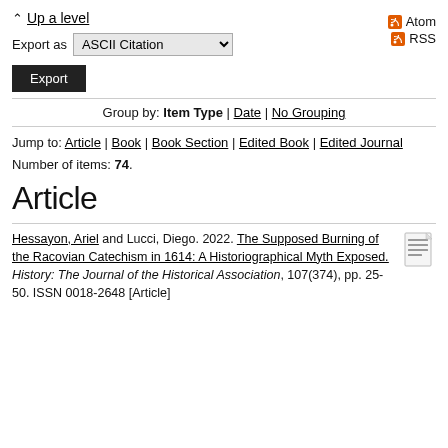↑ Up a level
Export as ASCII Citation
Export
Atom
RSS
Group by: Item Type | Date | No Grouping
Jump to: Article | Book | Book Section | Edited Book | Edited Journal
Number of items: 74.
Article
Hessayon, Ariel and Lucci, Diego. 2022. The Supposed Burning of the Racovian Catechism in 1614: A Historiographical Myth Exposed. History: The Journal of the Historical Association, 107(374), pp. 25-50. ISSN 0018-2648 [Article]